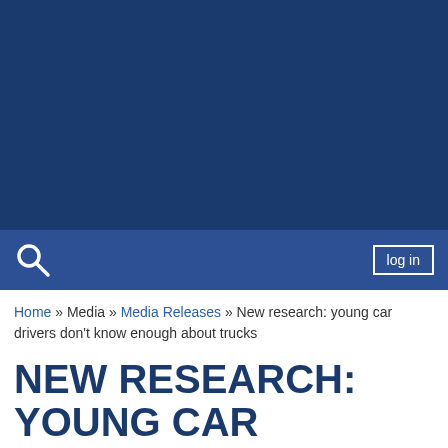[Figure (other): Dark navy blue header banner image area]
Search | log in
Home » Media » Media Releases » New research: young car drivers don't know enough about trucks
NEW RESEARCH: YOUNG CAR DRIVERS DON'T KNOW ENOUGH ABOUT